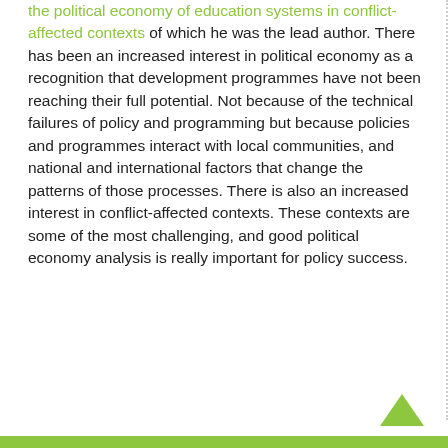the political economy of education systems in conflict-affected contexts of which he was the lead author. There has been an increased interest in political economy as a recognition that development programmes have not been reaching their full potential. Not because of the technical failures of policy and programming but because policies and programmes interact with local communities, and national and international factors that change the patterns of those processes. There is also an increased interest in conflict-affected contexts. These contexts are some of the most challenging, and good political economy analysis is really important for policy success.